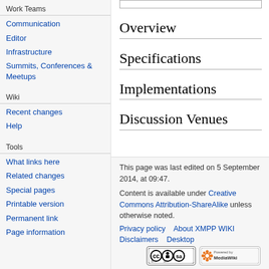Work Teams
Communication
Editor
Infrastructure
Summits, Conferences & Meetups
Wiki
Recent changes
Help
Tools
What links here
Related changes
Special pages
Printable version
Permanent link
Page information
Overview
Specifications
Implementations
Discussion Venues
This page was last edited on 5 September 2014, at 09:47.
Content is available under Creative Commons Attribution-ShareAlike unless otherwise noted.
Privacy policy    About XMPP WIKI
Disclaimers    Desktop